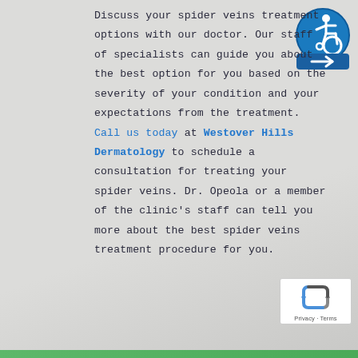Discuss your spider veins treatment options with our doctor. Our staff of specialists can guide you about the best option for you based on the severity of your condition and your expectations from the treatment. Call us today at Westover Hills Dermatology to schedule a consultation for treating your spider veins. Dr. Opeola or a member of the clinic's staff can tell you more about the best spider veins treatment procedure for you.
[Figure (logo): Accessibility icon — blue circular badge with wheelchair user and arrow symbol]
[Figure (logo): reCAPTCHA badge with recycling-arrow logo and 'Privacy · Terms' text]